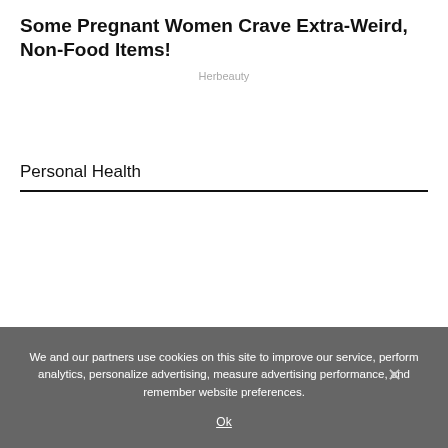Some Pregnant Women Crave Extra-Weird, Non-Food Items!
Herbeauty
Personal Health
We and our partners use cookies on this site to improve our service, perform analytics, personalize advertising, measure advertising performance, and remember website preferences.
Ok